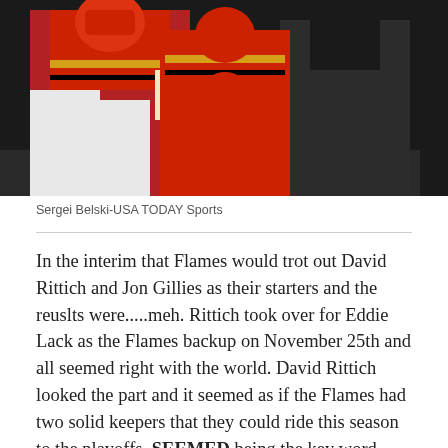[Figure (photo): Ice hockey players in red and black Calgary Flames jerseys, including a goaltender and another player or staff member in black]
Sergei Belski-USA TODAY Sports
In the interim that Flames would trot out David Rittich and Jon Gillies as their starters and the reuslts were.....meh. Rittich took over for Eddie Lack as the Flames backup on November 25th and all seemed right with the world. David Rittich looked the part and it seemed as if the Flames had two solid keepers that they could ride this season to the playoffs. SEEMED being the key word. Before David Rittich got the starter's role when Smith went down he was 5-1-2 as the Flames backup. After? 3-4-1. Not good enough and